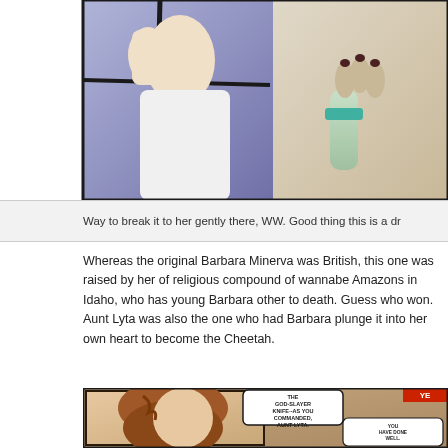[Figure (illustration): Comic book panel showing two characters - one in white clothing on the left reaching through or near a window frame, and another figure on the right with teal/green accents and dark nails raised hands visible]
Way to break it to her gently there, WW. Good thing this is a dr
Whereas the original Barbara Minerva was British, this one was raised by her of religious compound of wannabe Amazons in Idaho, who has young Barbara other to death. Guess who won. Aunt Lyta was also the one who had Barbara plunge it into her own heart to become the Cheetah.
[Figure (illustration): Comic book panel showing a young woman with braided reddish-brown hair in profile view on the left side, with speech bubbles reading 'THE GOD-SLAYER KNIFE--AS YOU COMMANDED, AUNT LYTA.' On the right side shows a deer skull/antler mount on a wooden barn wall with speech bubbles reading 'YOU HAVE DONE WELL. NOW--TAKE THE KNIFE AND PLUNGE IT INTO YOUR OWN HEART.']